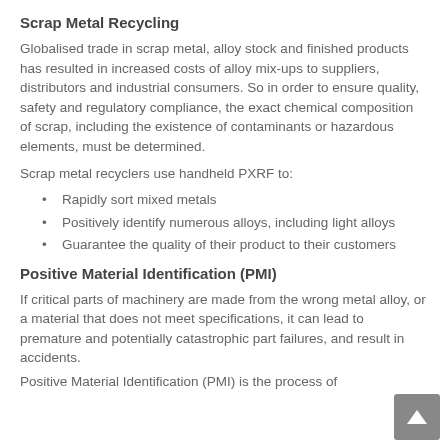Scrap Metal Recycling
Globalised trade in scrap metal, alloy stock and finished products has resulted in increased costs of alloy mix-ups to suppliers, distributors and industrial consumers. So in order to ensure quality, safety and regulatory compliance, the exact chemical composition of scrap, including the existence of contaminants or hazardous elements, must be determined.
Scrap metal recyclers use handheld PXRF to:
Rapidly sort mixed metals
Positively identify numerous alloys, including light alloys
Guarantee the quality of their product to their customers
Positive Material Identification (PMI)
If critical parts of machinery are made from the wrong metal alloy, or a material that does not meet specifications, it can lead to premature and potentially catastrophic part failures, and result in accidents.
Positive Material Identification (PMI) is the process of